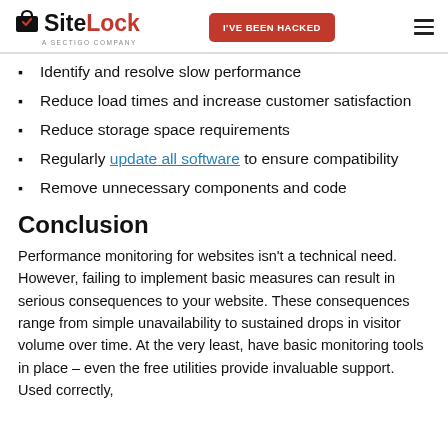SiteLock — A Sectigo Company | I'VE BEEN HACKED
Identify and resolve slow performance
Reduce load times and increase customer satisfaction
Reduce storage space requirements
Regularly update all software to ensure compatibility
Remove unnecessary components and code
Conclusion
Performance monitoring for websites isn't a technical need. However, failing to implement basic measures can result in serious consequences to your website. These consequences range from simple unavailability to sustained drops in visitor volume over time. At the very least, have basic monitoring tools in place – even the free utilities provide invaluable support. Used correctly, monitoring tools can contribute to better